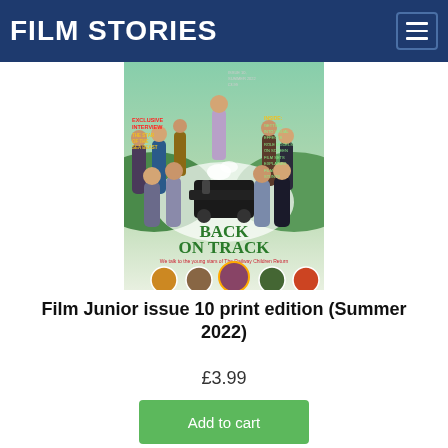FILM STORIES
[Figure (illustration): Magazine cover of Film Junior issue 10 Summer 2022. Features a group of young actors and adults in period costume with a steam train in the background. Title text 'BACK ON TRACK' in green with subtitle 'We talk to the young stars of The Railway Children Return'. Left side shows 'EXCLUSIVE INTERVIEW THE STAR OF THE SEA BEAST' in red/yellow text. Right side shows 'INSIDE: GETTING INTO VISUAL EFFECTS, ROLE MODELS ON SCREEN, FILM SETS EXPLAINED, FILM STUNTS'. Bottom shows circular review badges.]
Film Junior issue 10 print edition (Summer 2022)
£3.99
Add to cart